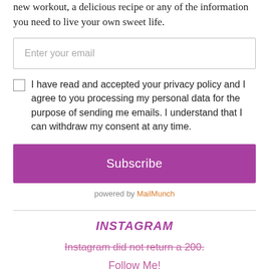new workout, a delicious recipe or any of the information you need to live your own sweet life.
Enter your email
I have read and accepted your privacy policy and I agree to you processing my personal data for the purpose of sending me emails. I understand that I can withdraw my consent at any time.
Subscribe
powered by MailMunch
INSTAGRAM
Instagram did not return a 200.
Follow Me!